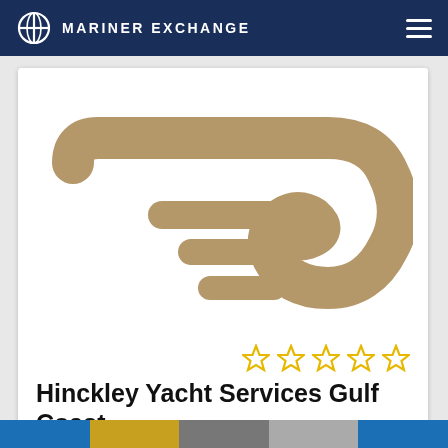MARINER EXCHANGE
[Figure (logo): Hinckley Yacht Services logo: gold/tan stylized swoosh and speed lines on white background]
Hinckley Yacht Services Gulf Coast
Fort Myers, FL • 14.3 miles